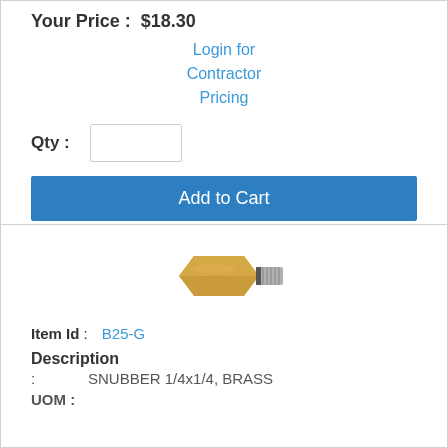Your Price : $18.30
Login for Contractor Pricing
Qty :
Add to Cart
[Figure (photo): Brass snubber fitting, 1/4x1/4, gold/brass colored with threaded end]
Item Id : B25-G
Description
: SNUBBER 1/4x1/4, BRASS
UOM :